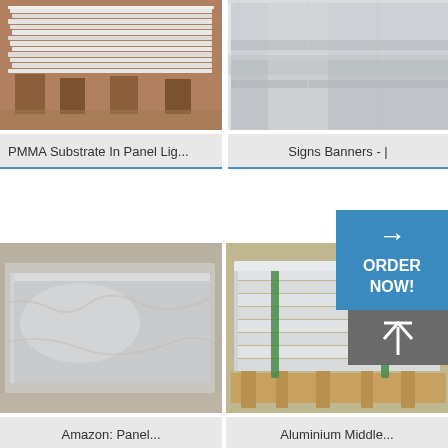[Figure (photo): Stack of PMMA/acrylic white sheets on wooden surface, top-left product card]
PMMA Substrate In Panel Lig...
[Figure (photo): Close-up of metallic/aluminum sheet surface, top-right product card]
Signs Banners - |
[Figure (photo): Aluminum sheet with plastic film wrapping on floor, bottom-left product card]
Amazon: Panel...
[Figure (photo): Stacked aluminum panels on wooden pallet with green straps, bottom-right product card]
Aluminium Middle...